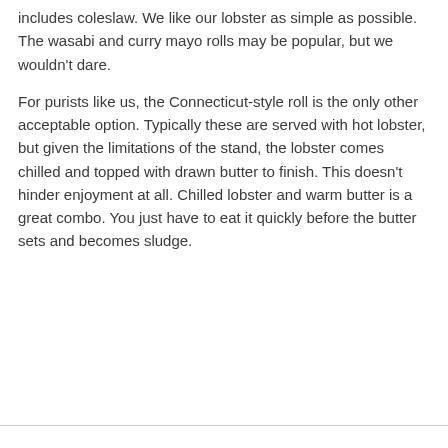includes coleslaw. We like our lobster as simple as possible. The wasabi and curry mayo rolls may be popular, but we wouldn't dare.
For purists like us, the Connecticut-style roll is the only other acceptable option. Typically these are served with hot lobster, but given the limitations of the stand, the lobster comes chilled and topped with drawn butter to finish. This doesn't hinder enjoyment at all. Chilled lobster and warm butter is a great combo. You just have to eat it quickly before the butter sets and becomes sludge.